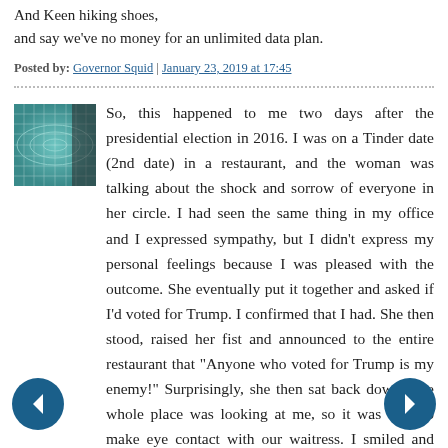And Keen hiking shoes,
and say we've no money for an unlimited data plan.
Posted by: Governor Squid | January 23, 2019 at 17:45
So, this happened to me two days after the presidential election in 2016. I was on a Tinder date (2nd date) in a restaurant, and the woman was talking about the shock and sorrow of everyone in her circle. I had seen the same thing in my office and I expressed sympathy, but I didn't express my personal feelings because I was pleased with the outcome. She eventually put it together and asked if I'd voted for Trump. I confirmed that I had. She then stood, raised her fist and announced to the entire restaurant that "Anyone who voted for Trump is my enemy!" Surprisingly, she then sat back down. The whole place was looking at me, so it was easy to make eye contact with our waitress. I smiled and asked for the check.